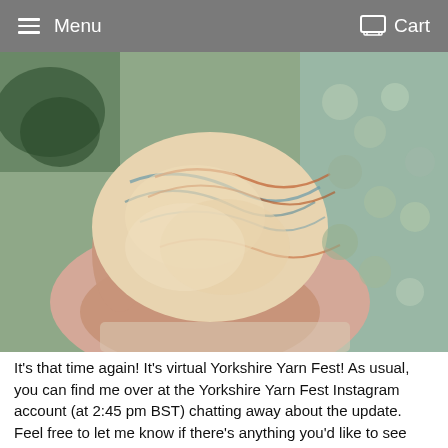Menu  Cart
[Figure (photo): A hand holding a small skein of hand-dyed yarn with cream, teal, orange, and rust speckled colors. In the background are skeins of yarn in sage green and tan colors.]
It's that time again! It's virtual Yorkshire Yarn Fest! As usual, you can find me over at the Yorkshire Yarn Fest Instagram account (at 2:45 pm BST) chatting away about the update. Feel free to let me know if there's anything you'd like to see close up. There are so many amazing vendors taking part. Do join us there!   Wonderful Woolly